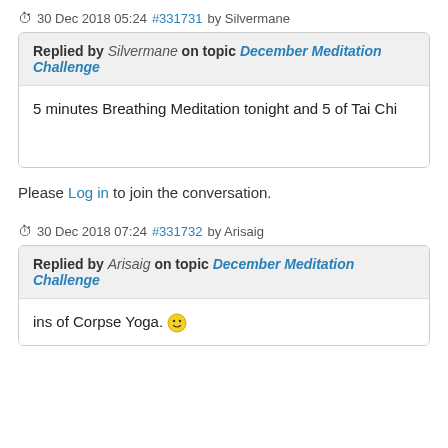30 Dec 2018 05:24 #331731 by Silvermane
Replied by Silvermane on topic December Meditation Challenge
5 minutes Breathing Meditation tonight and 5 of Tai Chi
Please Log in to join the conversation.
30 Dec 2018 07:24 #331732 by Arisaig
Replied by Arisaig on topic December Meditation Challenge
...ins of Corpse Yoga. 🙂